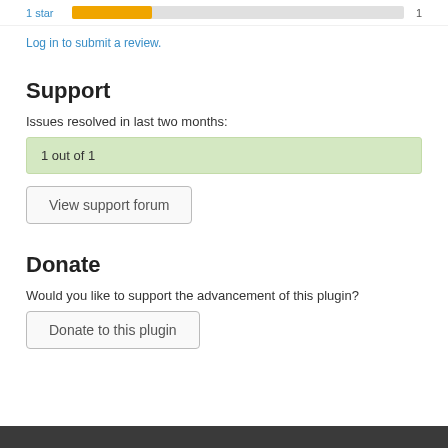1 star   1
Log in to submit a review.
Support
Issues resolved in last two months:
1 out of 1
View support forum
Donate
Would you like to support the advancement of this plugin?
Donate to this plugin